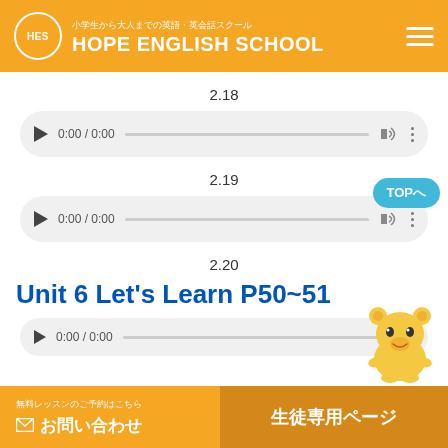小学生から大人までの英語・英会話スクール HOPE ENGLISH SCHOOL
2.18
[Figure (screenshot): Audio player control showing 0:00 / 0:00 with play button, progress bar, volume and more icons]
2.19
[Figure (screenshot): Audio player control showing 0:00 / 0:00 with play button, progress bar, volume and more icons]
2.20
Unit 6 Let's Learn P50~51
[Figure (screenshot): Partial audio player control showing 0:00 / 0:00]
無料レッスンのご予約はこちら　お問い合わせ　生徒専用ページ